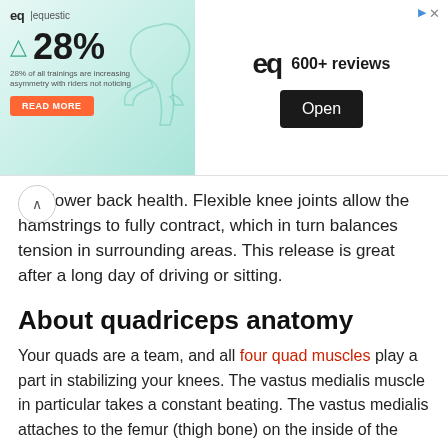[Figure (screenshot): Advertisement banner for equestic app showing 28% statistic with horse illustration, EQ logo, '600+ reviews' text, and 'Open' button]
and lower back health. Flexible knee joints allow the hamstrings to fully contract, which in turn balances tension in surrounding areas. This release is great after a long day of driving or sitting.
About quadriceps anatomy
Your quads are a team, and all four quad muscles play a part in stabilizing your knees. The vastus medialis muscle in particular takes a constant beating. The vastus medialis attaches to the femur (thigh bone) on the inside of the groin then at its other end attaches again to the femur just above the inside of the knee. While it can generate a huge amount of explosive force it also keeps the knee joint from being